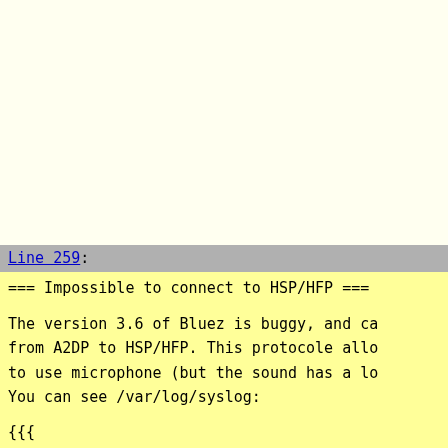(blank top area - continuation from previous page)
Line 259:
=== Impossible to connect to HSP/HFP ===
The version 3.6 of Bluez is buggy, and ca from A2DP to HSP/HFP. This protocole allo to use microphone (but the sound has a lo You can see /var/log/syslog:
{{{
[pulseaudio] module-bluez5-device.c: Refu profile to headset_head_unit: Not connect